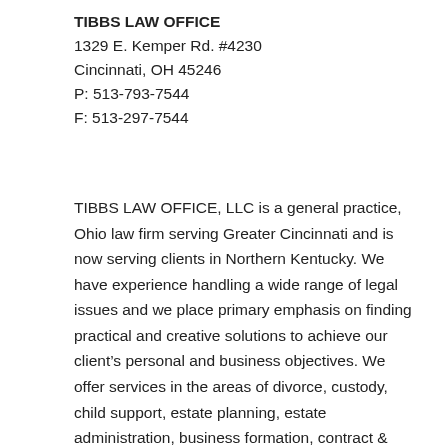TIBBS LAW OFFICE
1329 E. Kemper Rd. #4230
Cincinnati, OH 45246
P: 513-793-7544
F: 513-297-7544
TIBBS LAW OFFICE, LLC is a general practice, Ohio law firm serving Greater Cincinnati and is now serving clients in Northern Kentucky. We have experience handling a wide range of legal issues and we place primary emphasis on finding practical and creative solutions to achieve our client’s personal and business objectives. We offer services in the areas of divorce, custody, child support, estate planning, estate administration, business formation, contract & lease negotiation, evictions, misdemeanor defense, felony defense, and many other areas.